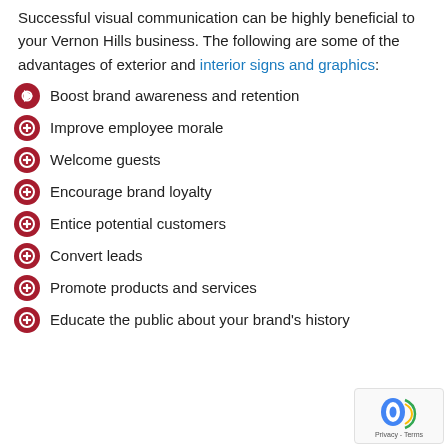Successful visual communication can be highly beneficial to your Vernon Hills business. The following are some of the advantages of exterior and interior signs and graphics:
Boost brand awareness and retention
Improve employee morale
Welcome guests
Encourage brand loyalty
Entice potential customers
Convert leads
Promote products and services
Educate the public about your brand's history